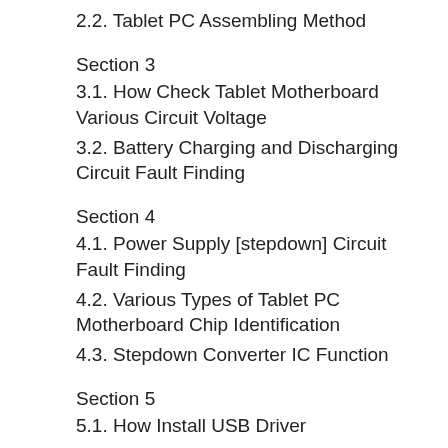2.2. Tablet PC Assembling Method
Section 3
3.1. How Check Tablet Motherboard Various Circuit Voltage
3.2. Battery Charging and Discharging Circuit Fault Finding
Section 4
4.1. Power Supply [stepdown] Circuit Fault Finding
4.2. Various Types of Tablet PC Motherboard Chip Identification
4.3. Stepdown Converter IC Function
Section 5
5.1. How Install USB Driver
5.2. How to root Tablet
5.3. How Install CWM Recovery File